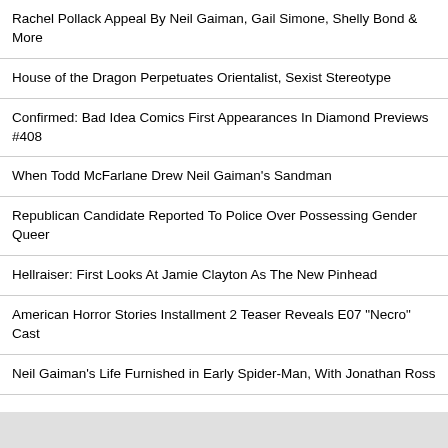Rachel Pollack Appeal By Neil Gaiman, Gail Simone, Shelly Bond & More
House of the Dragon Perpetuates Orientalist, Sexist Stereotype
Confirmed: Bad Idea Comics First Appearances In Diamond Previews #408
When Todd McFarlane Drew Neil Gaiman's Sandman
Republican Candidate Reported To Police Over Possessing Gender Queer
Hellraiser: First Looks At Jamie Clayton As The New Pinhead
American Horror Stories Installment 2 Teaser Reveals E07 "Necro" Cast
Neil Gaiman's Life Furnished in Early Spider-Man, With Jonathan Ross